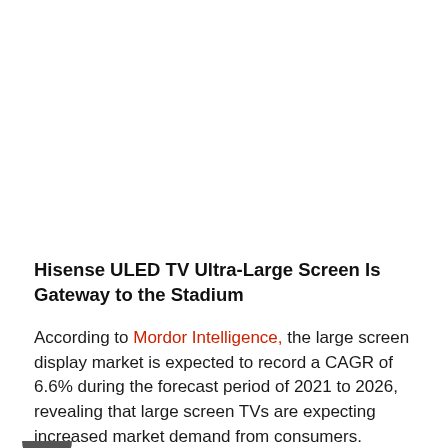Hisense ULED TV Ultra-Large Screen Is Gateway to the Stadium
According to Mordor Intelligence, the large screen display market is expected to record a CAGR of 6.6% during the forecast period of 2021 to 2026, revealing that large screen TVs are expecting increased market demand from consumers.